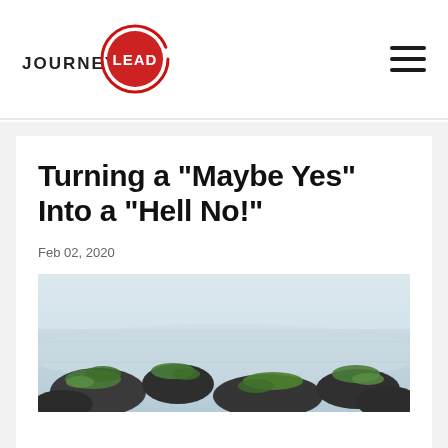[Figure (logo): Journey Lead logo: text 'JOURNEY' in dark letters next to a red circular badge with 'LEAD' in white, surrounded by a red brushstroke circle]
Turning a "Maybe Yes" Into a "Hell No!"
Feb 02, 2020
[Figure (photo): Photograph of moss-covered rocks in shallow misty water, with green moss prominently visible on dark rocks against a pale grey-white water background]